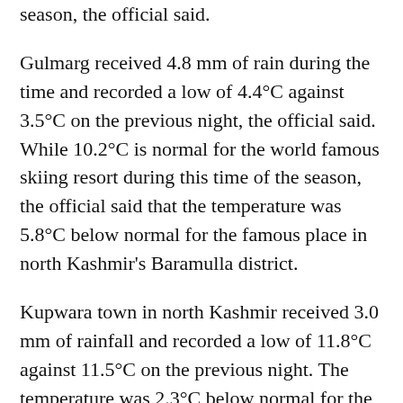season, the official said.
Gulmarg received 4.8 mm of rain during the time and recorded a low of 4.4°C against 3.5°C on the previous night, the official said. While 10.2°C is normal for the world famous skiing resort during this time of the season, the official said that the temperature was 5.8°C below normal for the famous place in north Kashmir's Baramulla district.
Kupwara town in north Kashmir received 3.0 mm of rainfall and recorded a low of 11.8°C against 11.5°C on the previous night. The temperature was 2.3°C below normal for the district, the official said.
Jammu recorded a low of 23.0 °C against 19.7°C on the previous night, the official said.